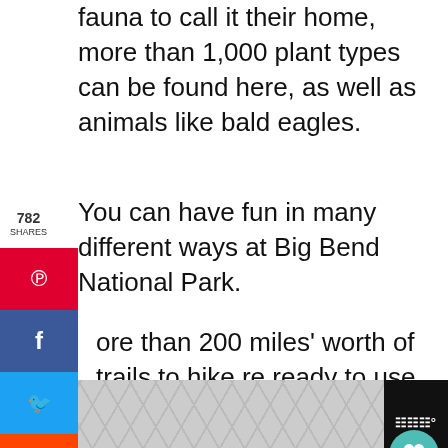fauna to call it their home, more than 1,000 plant types can be found here, as well as animals like bald eagles.
You can have fun in many different ways at Big Bend National Park.
...more than 200 miles' worth of trails to hike are ready to use.
...here are three large canyons to visit and take photographs at, namely Boquillas, Mariscal, and Santa Elena.